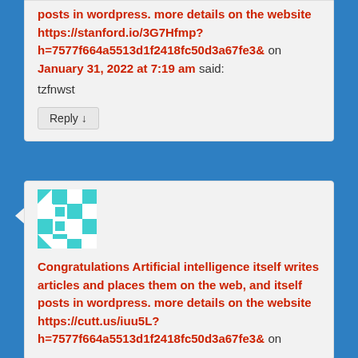posts in wordpress. more details on the website https://stanford.io/3G7Hfmp?h=7577f664a5513d1f2418fc50d3a67fe3& on January 31, 2022 at 7:19 am said:
tzfnwst
Reply ↓
[Figure (illustration): Avatar image: geometric cyan and white mosaic pattern in a square]
Congratulations Artificial intelligence itself writes articles and places them on the web, and itself posts in wordpress. more details on the website https://cutt.us/iuu5L?h=7577f664a5513d1f2418fc50d3a67fe3& on